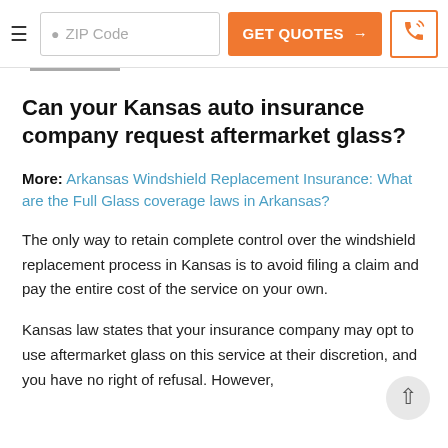ZIP Code | GET QUOTES → | [phone icon]
Can your Kansas auto insurance company request aftermarket glass?
More: Arkansas Windshield Replacement Insurance: What are the Full Glass coverage laws in Arkansas?
The only way to retain complete control over the windshield replacement process in Kansas is to avoid filing a claim and pay the entire cost of the service on your own.
Kansas law states that your insurance company may opt to use aftermarket glass on this service at their discretion, and you have no right of refusal. However,